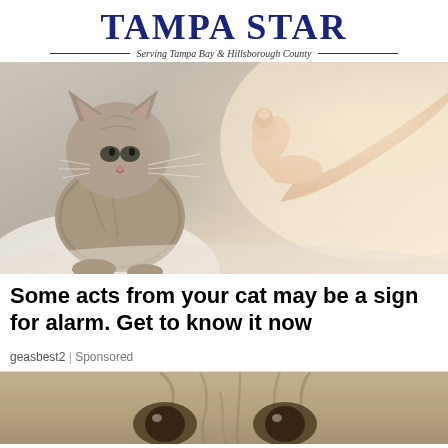Tampa Star — Serving Tampa Bay & Hillsborough County
[Figure (photo): A Scottish Fold kitten sitting calmly while a human hand reaches toward it with one finger extended toward the cat's whiskers, on a light surface with warm background lighting.]
Some acts from your cat may be a sign for alarm. Get to know it now
geasbest2 | Sponsored
[Figure (photo): Close-up of a tabby cat's face showing its eyes, nose and forehead in warm tan/beige tones.]